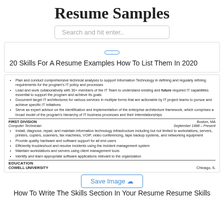Resume Samples
Search and hit enter..
20 Skills For A Resume Examples How To List Them In 2020
Plan and conduct comprehensive technical analyses to support Information Technology in defining and regularly refining requirements for the program's IT policy and processes
Lead and work collaboratively with 30+ members of the IT Team to understand existing and future required IT capabilities essential to support the program and achieve its goals
Document target IT architectures for various services in multiple forms that are actionable by IT project teams to pursue and achieve specific IT initiatives
Serve as expert advisor on the identification and implementation of the enterprise architecture framework, which comprises a broad model of the program's hierarchy of IT business processes and their interrelationships
FIRST DIVISION — Boston, MA
Computer Technician — September 1998 – Present
Install, diagnose, repair, and maintain information technology infrastructure including but not limited to workstations, servers, printers, copiers, scanners, fax machines, VOIP, video conferencing, tape backup systems, and networking equipment
Provide quality hardware and software support for all end users
Efficiently troubleshoot and resolve incidents using the incident management system
Maintain workstations and servers using client management tools
Identify and learn appropriate software applications relevant to the organization
EDUCATION
COWELL UNIVERSITY — Chicago, IL
Save Image
How To Write The Skills Section In Your Resume Resume Skills